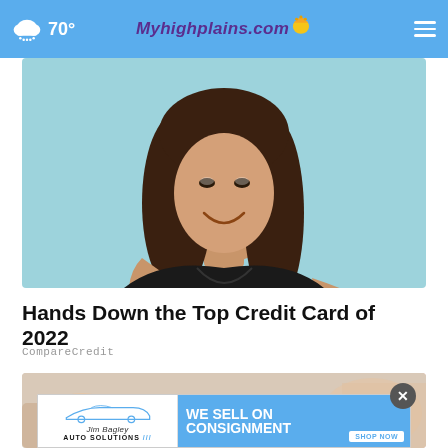70° Myhighplains.com
[Figure (photo): Young woman smiling and holding a credit card, pointing at it, wearing a black v-neck shirt against a light blue background]
Hands Down the Top Credit Card of 2022
CompareCredit
[Figure (photo): Partial view of hands and a surface, second article image partially visible]
[Figure (other): Advertisement banner: Jim Bagley Auto Solutions - WE SELL ON CONSIGNMENT - SHOP NOW]